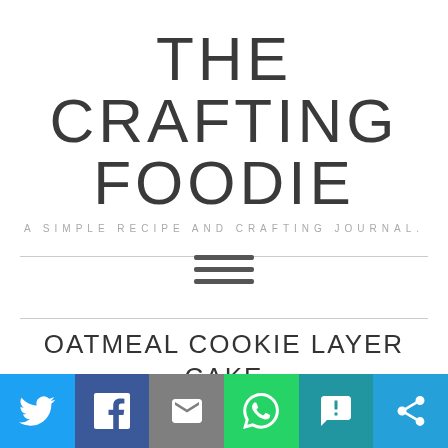THE CRAFTING FOODIE
A SIMPLE RECIPE AND CRAFTING JOURNAL.
[Figure (other): Hamburger menu icon (three horizontal lines)]
OATMEAL COOKIE LAYER CAKE WITH CHOCOLATE GANACHE AND
[Figure (infographic): Social sharing bar with icons: Twitter, Facebook, Email, WhatsApp, SMS, Share]